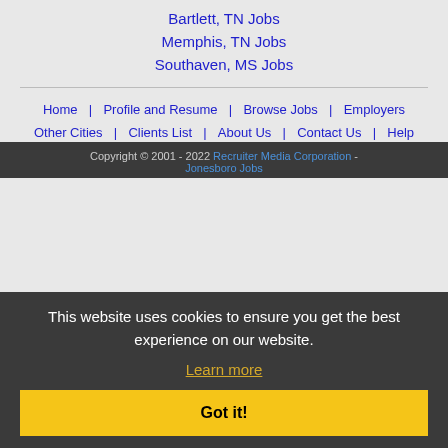Bartlett, TN Jobs
Memphis, TN Jobs
Southaven, MS Jobs
Home | Profile and Resume | Browse Jobs | Employers | Other Cities | Clients List | About Us | Contact Us | Help | Terms of Use | Register / Log In
Copyright © 2001 - 2022 Recruiter Media Corporation - Jonesboro Jobs
This website uses cookies to ensure you get the best experience on our website.
Learn more
Got it!